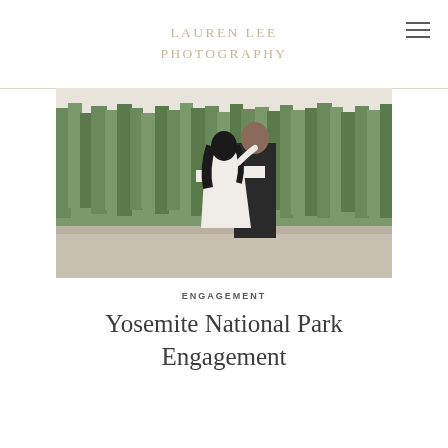LAUREN LEE PHOTOGRAPHY
[Figure (photo): A couple viewed from behind, standing on a rocky overlook in Yosemite National Park. The woman wears a white dress with long sleeves, and the man wears a dark suit. They are embracing, surrounded by forested mountains.]
ENGAGEMENT
Yosemite National Park Engagement